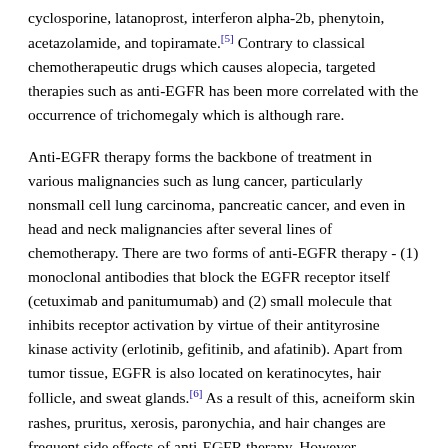cyclosporine, latanoprost, interferon alpha-2b, phenytoin, acetazolamide, and topiramate.[5] Contrary to classical chemotherapeutic drugs which causes alopecia, targeted therapies such as anti-EGFR has been more correlated with the occurrence of trichomegaly which is although rare.
Anti-EGFR therapy forms the backbone of treatment in various malignancies such as lung cancer, particularly nonsmall cell lung carcinoma, pancreatic cancer, and even in head and neck malignancies after several lines of chemotherapy. There are two forms of anti-EGFR therapy - (1) monoclonal antibodies that block the EGFR receptor itself (cetuximab and panitumumab) and (2) small molecule that inhibits receptor activation by virtue of their antityrosine kinase activity (erlotinib, gefitinib, and afatinib). Apart from tumor tissue, EGFR is also located on keratinocytes, hair follicle, and sweat glands.[6] As a result of this, acneiform skin rashes, pruritus, xerosis, paronychia, and hair changes are frequent side effects of anti-EGFR therapy. However, enlargement of eyelashes categorically is very rare and described in literature with both classes of drugs only in few case reports.[7],[8] Trichomegaly of eyelashes due to EGFR inhibitors is usually seen after 2–5 months of treatment and can be associated with hypertrichosis in other areas; however, this is not the rule.[9]